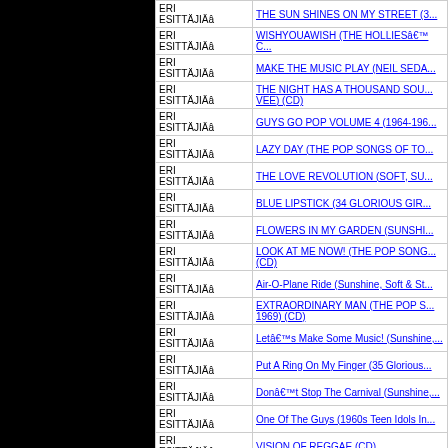| Esittäjä | Albumi |
| --- | --- |
| ERI ESITTÄJIÄâ | THE SUN SHINES ON MY STREET (3... |
| ERI ESITTÄJIÄâ | WISHYOUAWISH (THE HOLLIESâ... C... |
| ERI ESITTÄJIÄâ | MAKE THE MUSIC PLAY (NEIL SEDA... |
| ERI ESITTÄJIÄâ | THE NIGHT HAS A THOUSAND SOU... VEE) (CD) |
| ERI ESITTÄJIÄâ | GUYS GO POP VOLUME 4 (1964-196... |
| ERI ESITTÄJIÄâ | LAZY DAY (THE POP SONGS OF TO... |
| ERI ESITTÄJIÄâ | THE LOVE REVOLUTION (SOFT, SU... |
| ERI ESITTÄJIÄâ | BLUE LIPSTICK (34 GLORIOUS GIR... |
| ERI ESITTÄJIÄâ | FLOWERS IN MY GARDEN (SUNSHI... |
| ERI ESITTÄJIÄâ | LOOK AT ME NOW! (THE POP SONG... (CD) |
| ERI ESITTÄJIÄâ | Air-O-Plane Ride (Sunshine, Soft & St... |
| ERI ESITTÄJIÄâ | EXTRAORDINARY MAN (THE POP S... 1969) (CD) |
| ERI ESITTÄJIÄâ | Letâs Make Some Music! (Sunshine,... |
| ERI ESITTÄJIÄâ | Put A Ring On My Finger (35 Glorious... |
| ERI ESITTÄJIÄâ | Donât Stop The Carnival (Sunshine,... |
| ERI ESITTÄJIÄâ | One Of The Guys (1960s Teen Idols In... |
| ERI ESITTÄJIÄâ | VISION OF REGGAE (CD) |
| ERI ESITTÄJIÄâ | ROOTS OF DAVID (CD) |
| ERI ESITTÄJIÄâ | FLOWERS IN THE FOREST (BEST... |